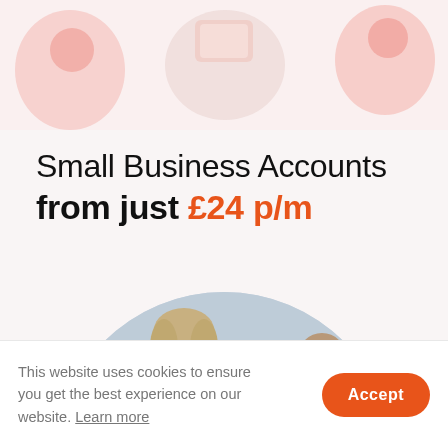[Figure (illustration): Partial top-of-page decorative illustration with cartoon-style figures and objects on a light pink/white background, partially cropped]
Small Business Accounts from just £24 p/m
[Figure (photo): Circular cropped photo showing two people (a woman and a man) against a blurred outdoor background]
This website uses cookies to ensure you get the best experience on our website. Learn more
Accept